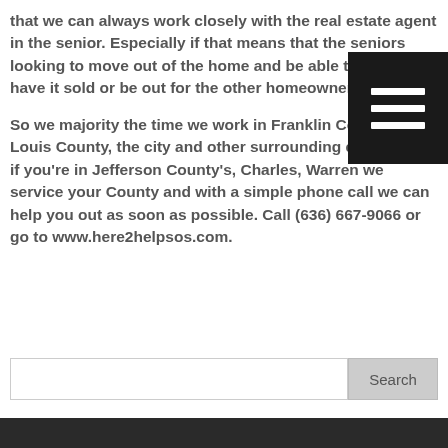that we can always work closely with the real estate agent in the senior. Especially if that means that the seniors looking to move out of the home and be able to actually have it sold or be out for the other homeowners move in.
[Figure (other): Black square menu/hamburger icon button with three white horizontal lines]
So we majority the time we work in Franklin County, St. Louis County, the city and other surrounding counties. So if you're in Jefferson County's, Charles, Warren we service your County and with a simple phone call we can help you out as soon as possible. Call (636) 667-9066 or go to www.here2helpsos.com.